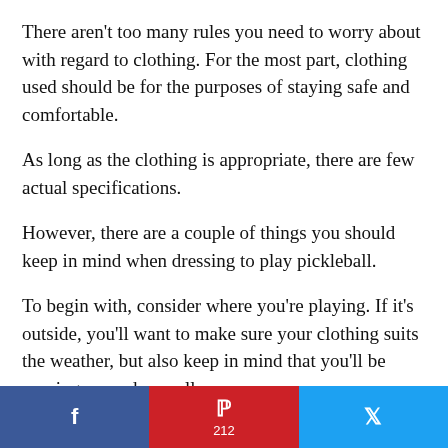There aren’t too many rules you need to worry about with regard to clothing. For the most part, clothing used should be for the purposes of staying safe and comfortable.
As long as the clothing is appropriate, there are few actual specifications.
However, there are a couple of things you should keep in mind when dressing to play pickleball.
To begin with, consider where you’re playing. If it’s outside, you’ll want to make sure your clothing suits the weather, but also keep in mind that you’ll be moving around as well.
Wearing shoes that are designed for in-court use is a good idea, as not all sneakers will have a
f  •  212  •  Twitter share buttons